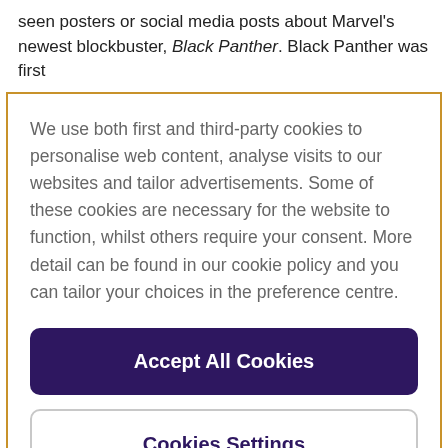seen posters or social media posts about Marvel's newest blockbuster, Black Panther. Black Panther was first
We use both first and third-party cookies to personalise web content, analyse visits to our websites and tailor advertisements. Some of these cookies are necessary for the website to function, whilst others require your consent. More detail can be found in our cookie policy and you can tailor your choices in the preference centre.
Accept All Cookies
Cookies Settings